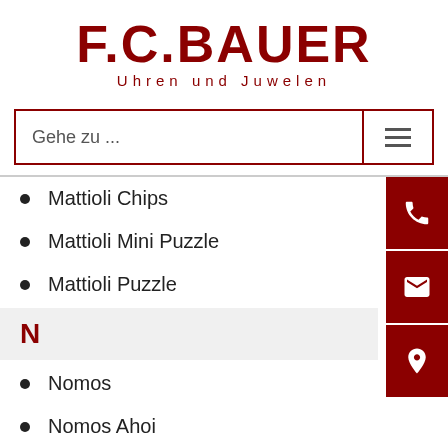[Figure (logo): F.C. Bauer logo with text 'Uhren und Juwelen' in dark red]
Gehe zu ...
Mattioli Chips
Mattioli Mini Puzzle
Mattioli Puzzle
N
Nomos
Nomos Ahoi
Nomos Autobahn
Nomos Club
Nomos Lambda